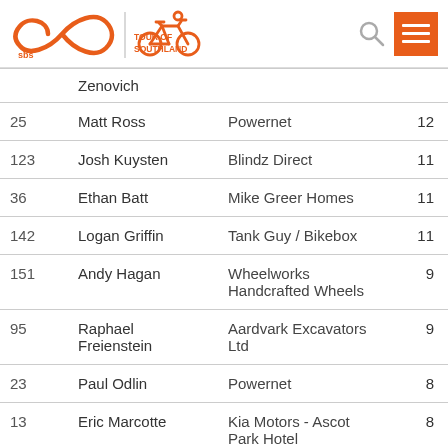SBS Tour of Southland
| # | Name | Team | Pts |
| --- | --- | --- | --- |
|  | Zenovich |  |  |
| 25 | Matt Ross | Powernet | 12 |
| 123 | Josh Kuysten | Blindz Direct | 11 |
| 36 | Ethan Batt | Mike Greer Homes | 11 |
| 142 | Logan Griffin | Tank Guy / Bikebox | 11 |
| 151 | Andy Hagan | Wheelworks Handcrafted Wheels | 9 |
| 95 | Raphael Freienstein | Aardvark Excavators Ltd | 9 |
| 23 | Paul Odlin | Powernet | 8 |
| 13 | Eric Marcotte | Kia Motors - Ascot Park Hotel | 8 |